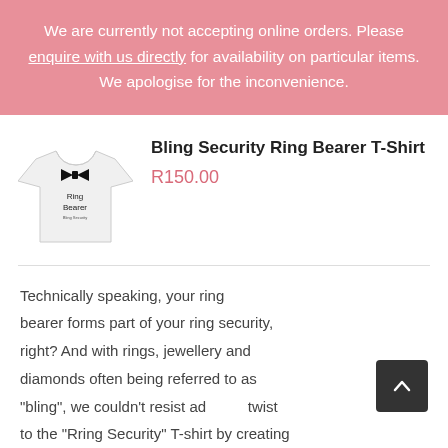We are currently not accepting online orders. Please enquire with us directly for availability on particular items. We apologise for the inconvenience.
[Figure (photo): White t-shirt with a black bow tie graphic and text 'Ring Bearer' printed on it]
Bling Security Ring Bearer T-Shirt
R150.00
Technically speaking, your ring bearer forms part of your ring security, right? And with rings, jewellery and diamonds often being referred to as "bling", we couldn't resist ad twist to the "Rring Security" T-shirt by creating a "BLING SECURITY" T-shirt. We felt this